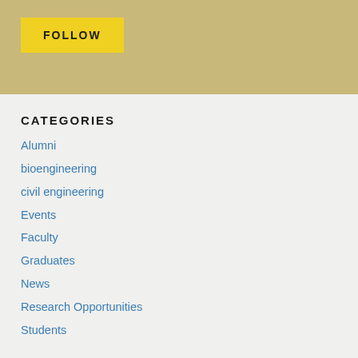FOLLOW
CATEGORIES
Alumni
bioengineering
civil engineering
Events
Faculty
Graduates
News
Research Opportunities
Students